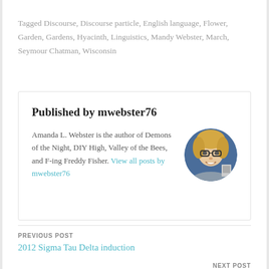Tagged Discourse, Discourse particle, English language, Flower, Garden, Gardens, Hyacinth, Linguistics, Mandy Webster, March, Seymour Chatman, Wisconsin
Published by mwebster76
Amanda L. Webster is the author of Demons of the Night, DIY High, Valley of the Bees, and F-ing Freddy Fisher. View all posts by mwebster76
[Figure (photo): Circular profile photo of a blonde woman wearing glasses, smiling, against a blue background]
PREVIOUS POST
2012 Sigma Tau Delta induction
NEXT POST